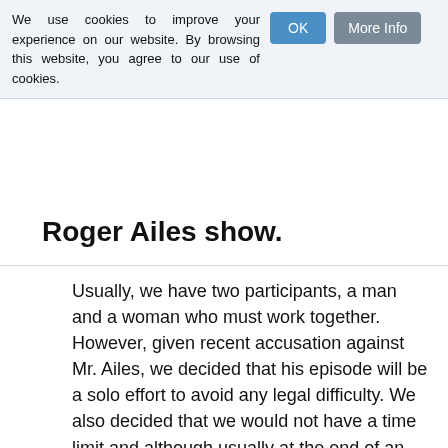We use cookies to improve your experience on our website. By browsing this website, you agree to our use of cookies.
Roger Ailes show.
Usually, we have two participants, a man and a woman who must work together. However, given recent accusation against Mr. Ailes, we decided that his episode will be a solo effort to avoid any legal difficulty. We also decided that we would not have a time limit and although usually at the end of an agreed period we helicopter in and pick the participant up, we've decided we'll just leave Roger out there for as long as it takes.